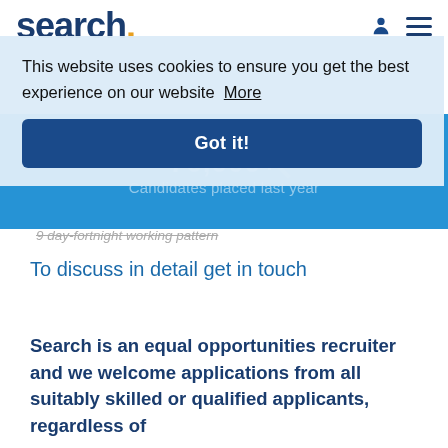search.
[Figure (screenshot): Cookie consent banner with text 'This website uses cookies to ensure you get the best experience on our website More' and a 'Got it!' button]
[Figure (infographic): Blue banner with '76,000+' statistic and 'Candidates placed last year' label, with a search magnifying glass watermark icon]
9 day-fortnight working pattern
To discuss in detail get in touch
Search is an equal opportunities recruiter and we welcome applications from all suitably skilled or qualified applicants, regardless of